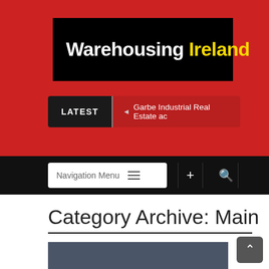[Figure (logo): Warehousing Ireland logo — white bold text 'Warehousing' and yellow bold text 'Ireland' on black background, set within red header]
LATEST   ◄ Garbe Industrial Real Estate ac
Navigation Menu  ≡  +  🔍
Category Archive: Main
[Figure (photo): No Image placeholder — dark blue-grey rectangle with 'No Image' text in grey]